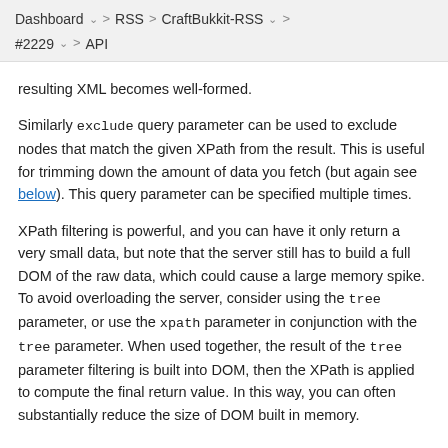Dashboard > RSS > CraftBukkit-RSS > > #2229 > API
resulting XML becomes well-formed.
Similarly exclude query parameter can be used to exclude nodes that match the given XPath from the result. This is useful for trimming down the amount of data you fetch (but again see below). This query parameter can be specified multiple times.
XPath filtering is powerful, and you can have it only return a very small data, but note that the server still has to build a full DOM of the raw data, which could cause a large memory spike. To avoid overloading the server, consider using the tree parameter, or use the xpath parameter in conjunction with the tree parameter. When used together, the result of the tree parameter filtering is built into DOM, then the XPath is applied to compute the final return value. In this way, you can often substantially reduce the size of DOM built in memory.